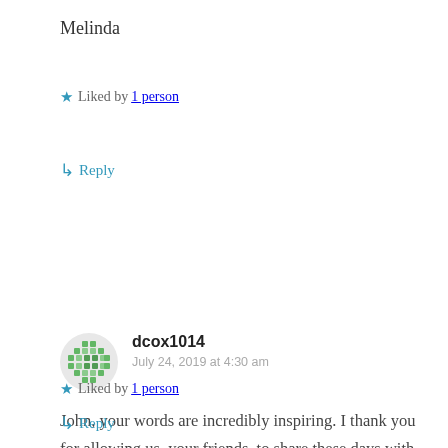Melinda
★ Liked by 1 person
↳ Reply
dcox1014
July 24, 2019 at 4:30 am
John, your words are incredibly inspiring. I thank you for allowing us, your friends, to share these days with you. I love you and continue to pray for you and your dear family!
★ Liked by 1 person
↳ Reply